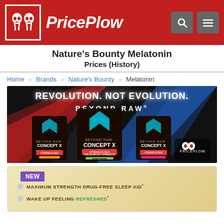PricePlow
Nature's Bounty Melatonin
Prices  (History)
Home » Brands » Nature's Bounty » Melatonin
[Figure (photo): Beyond Raw Concept X advertisement banner with text 'REVOLUTION. NOT EVOLUTION. BEYOND RAW' and three product containers on a dark background with red and blue light streaks and PricePlow logo]
[Figure (photo): Nature's Bounty Melatonin product packaging on a gold/tan background. Shows a NEW badge in purple, and text: MAXIMUM STRENGTH DRUG-FREE SLEEP AID* and WAKE UP FEELING REFRESHED*]